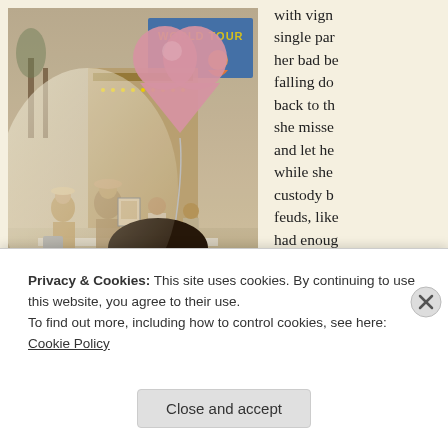[Figure (photo): Street scene photo showing a young Asian girl in the foreground holding a large pink heart-shaped balloon, with a busy street and a 'World Tour' billboard in the background. Warm vintage tones.]
with vign single par her bad be falling do back to th she misse and let he while she custody b feuds, like had enoug on no in ugh
Privacy & Cookies: This site uses cookies. By continuing to use this website, you agree to their use.
To find out more, including how to control cookies, see here: Cookie Policy
Close and accept